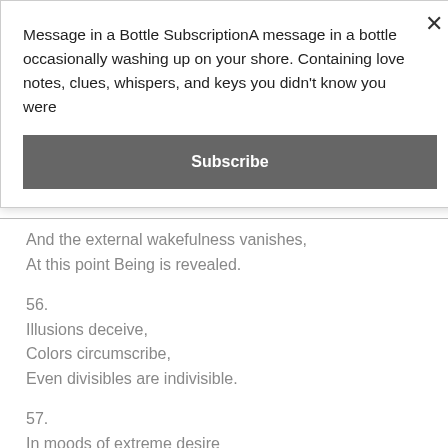Message in a Bottle SubscriptionA message in a bottle occasionally washing up on your shore. Containing love notes, clues, whispers, and keys you didn't know you were
Subscribe
And the external wakefulness vanishes,
At this point Being is revealed.
56.
Illusions deceive,
Colors circumscribe,
Even divisibles are indivisible.
57.
In moods of extreme desire
Be undisturbed.